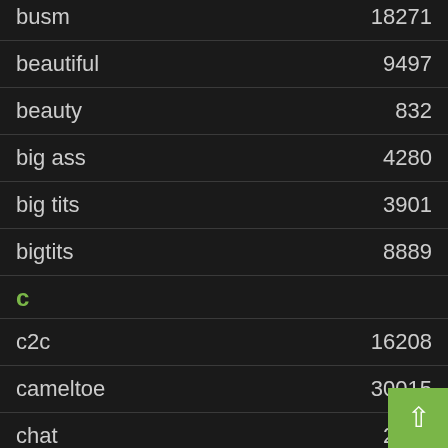| term | count |
| --- | --- |
| busm | 18271 |
| beautiful | 9497 |
| beauty | 832 |
| big ass | 4280 |
| big tits | 3901 |
| bigtits | 8889 |
c
| term | count |
| --- | --- |
| c2c | 16208 |
| cameltoe | 30015 |
| chat | 2502 |
| cheapest | 7 |
| chubby | 2466 |
| clit | 190 |
| cock | 70 |
| college | 5661 |
| colombian |  |